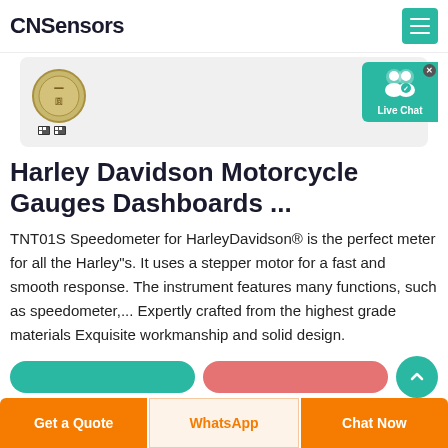CNSensors
[Figure (photo): Product image of a coin/sensor on light gray background, with two small QR-like icons below it. A Live Chat overlay widget appears on the right side.]
Harley Davidson Motorcycle Gauges Dashboards ...
TNT01S Speedometer for HarleyDavidson® is the perfect meter for all the Harley"s. It uses a stepper motor for a fast and smooth response. The instrument features many functions, such as speedometer,... Expertly crafted from the highest grade materials Exquisite workmanship and solid design.
[Figure (screenshot): Partial view of action buttons (teal and red) and a teal circle button at bottom of page]
Get a Quote | WhatsApp | Chat Now